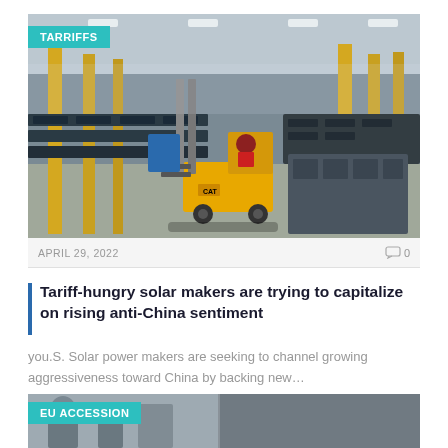[Figure (photo): Interior of a large manufacturing or warehouse facility with yellow forklift operated by a worker in red, solar panels on conveyor lines, yellow pillars, high industrial ceiling with overhead lights.]
TARRIFFS
APRIL 29, 2022  0
Tariff-hungry solar makers are trying to capitalize on rising anti-China sentiment
you.S. Solar power makers are seeking to channel growing aggressiveness toward China by backing new…
[Figure (photo): Partial view of people, bottom of the page, with EU ACCESSION category label on teal/cyan background.]
EU ACCESSION